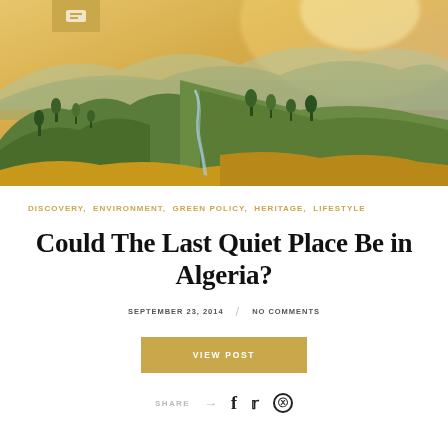[Figure (photo): Mountain valley landscape at sunset with green hills, trees, winding river, and golden sky over distant mountain ranges in Algeria]
DISCOVERY, ENVIRONMENT, GREEN POLICY, HERITAGE, LIFESTYLE
Could The Last Quiet Place Be in Algeria?
SEPTEMBER 23, 2014 / NO COMMENTS
VIEW POST
SHARE → f t ⓟ